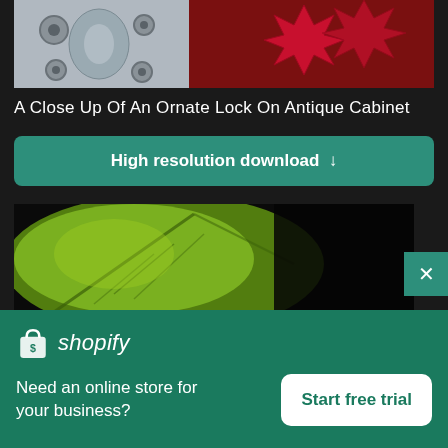[Figure (photo): Close-up photo of an ornate antique cabinet lock with silver metalwork on a dark red/maroon background]
A Close Up Of An Ornate Lock On Antique Cabinet
High resolution download ↓
[Figure (photo): Close-up photo of a green leaf with visible veins against a dark background]
[Figure (logo): Shopify logo with shopping bag icon and italic wordmark]
Need an online store for your business?
Start free trial